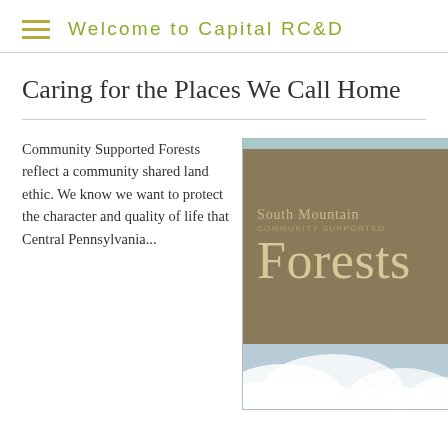Welcome to Capital RC&D
Caring for the Places We Call Home
Community Supported Forests reflect a community shared land ethic. We know we want to protect the character and quality of life that Central Pennsylvania...
[Figure (illustration): South Mountain Community Supported Forests logo/book cover with brown background and large cream-colored text. Bottom portion shows a sky with clouds.]